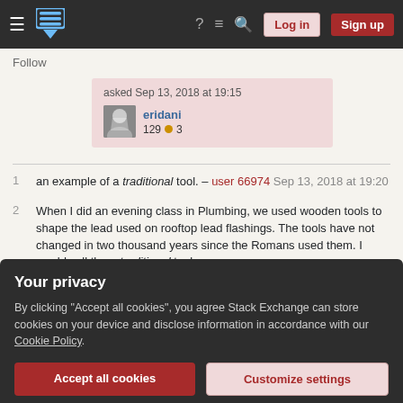Stack Exchange navigation bar with Log in and Sign up buttons
Follow
asked Sep 13, 2018 at 19:15
eridani
129 ●3
1  an example of a traditional tool. – user 66974 Sep 13, 2018 at 19:20
2  When I did an evening class in Plumbing, we used wooden tools to shape the lead used on rooftop lead flashings. The tools have not changed in two thousand years since the Romans used them. I would call them traditional tools
Your privacy
By clicking "Accept all cookies", you agree Stack Exchange can store cookies on your device and disclose information in accordance with our Cookie Policy.
Accept all cookies
Customize settings